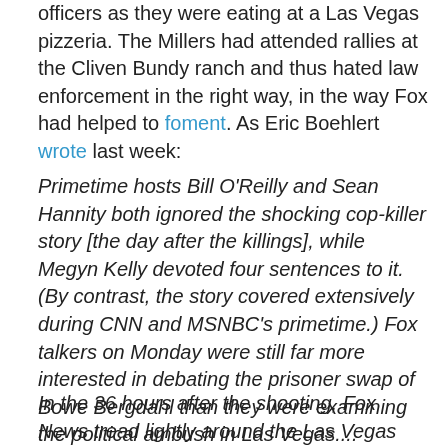officers as they were eating at a Las Vegas pizzeria. The Millers had attended rallies at the Cliven Bundy ranch and thus hated law enforcement in the right way, in the way Fox had helped to foment. As Eric Boehlert wrote last week:
Primetime hosts Bill O'Reilly and Sean Hannity both ignored the shocking cop-killer story [the day after the killings], while Megyn Kelly devoted four sentences to it. (By contrast, the story covered extensively during CNN and MSNBC's primetime.) Fox talkers on Monday were still far more interested in debating the prisoner swap of Bowe Bergdahl than they were examining the political ambush in Las Vegas....
In the 36 hours after the shooting, Fox News tread lightly around the Las Vegas story, producing regular news